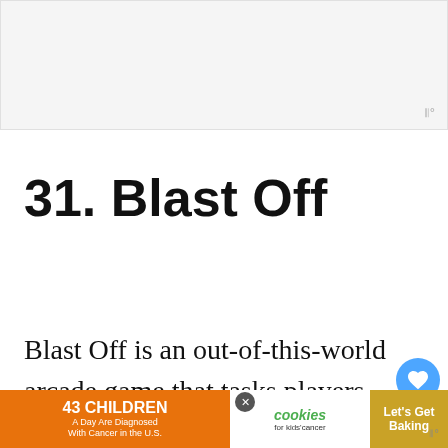[Figure (other): Advertisement banner placeholder at top of page, light gray background]
31. Blast Off
Blast Off is an out-of-this-world arcade game that tasks players with rescuing astronauts and getting them safely through the warp ga…
[Figure (other): Children's cancer cookies advertisement banner at bottom: '43 CHILDREN A Day Are Diagnosed With Cancer in the U.S.' with cookies for kids cancer and Let's Get Baking]